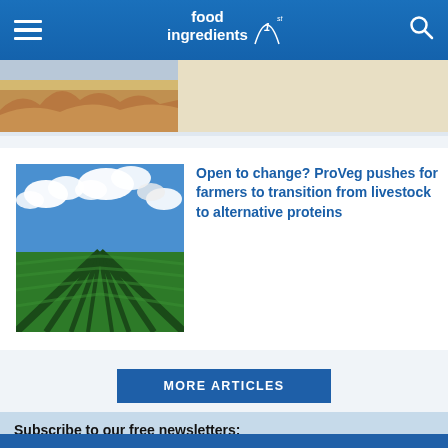food ingredients 1st
[Figure (photo): Partial view of a desert/sandy landscape photo strip]
[Figure (photo): Green crop field rows under blue sky with white clouds]
Open to change? ProVeg pushes for farmers to transition from livestock to alternative proteins
MORE ARTICLES
Subscribe to our free newsletters:
Enter Your Email Address
SUBSCRIBE